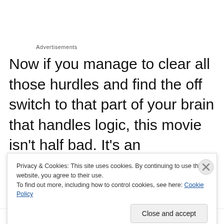Advertisements
Now if you manage to clear all those hurdles and find the off switch to that part of your brain that handles logic, this movie isn't half bad. It's an inoffensive, goofy comedy. It was released in the early 2000's but it has a 90's feel to it. The jokes are mainly based on the premise of an elderly woman acting like a thirty year old man who wants to have sex with her granddaughter. That's a bit of a problematic
Privacy & Cookies: This site uses cookies. By continuing to use this website, you agree to their use.
To find out more, including how to control cookies, see here: Cookie Policy
Close and accept